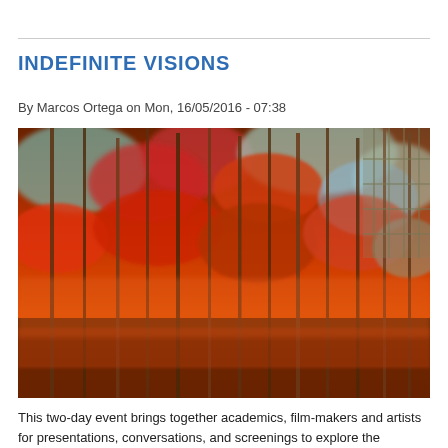INDEFINITE VISIONS
By Marcos Ortega on Mon, 16/05/2016 - 07:38
[Figure (photo): Abstract image of a forest with red and orange autumn foliage, viewed from above or through dense trees, with streaks of colour creating an impressionistic effect.]
This two-day event brings together academics, film-makers and artists for presentations, conversations, and screenings to explore the indefinite and the illegible in experimental film, artists' film and video, and commercial cinema.